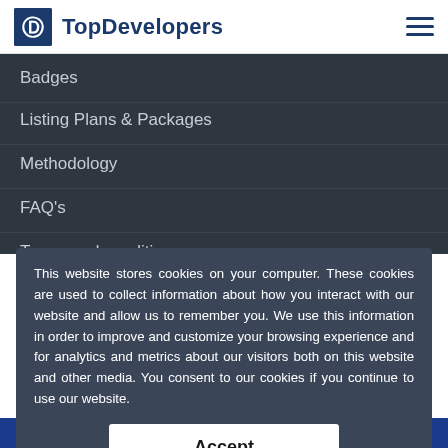TopDevelopers
Badges
Listing Plans & Packages
Methodology
FAQ's
Terms and conditions
This website stores cookies on your computer. These cookies are used to collect information about how you interact with our website and allow us to remember you. We use this information in order to improve and customize your browsing experience and for analytics and metrics about our visitors both on this website and other media. You consent to our cookies if you continue to use our website.
Accept
Key Insights